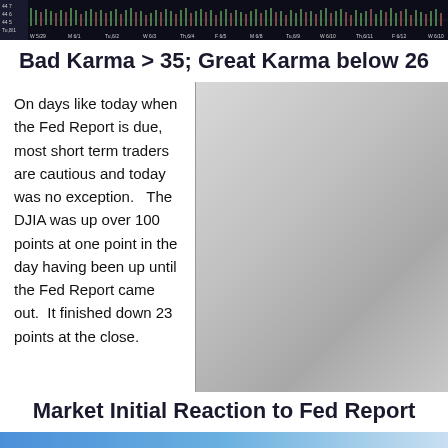[Figure (screenshot): Dark trading chart strip showing DJIA or similar financial chart with candlesticks and time axis labels along the bottom]
Bad Karma > 35; Great Karma below 26
On days like today when the Fed Report is due, most short term traders are cautious and today was no exception.   The DJIA was up over 100 points at one point in the day having been up until the Fed Report came out.  It finished down 23 points at the close.
Market Initial Reaction to Fed Report